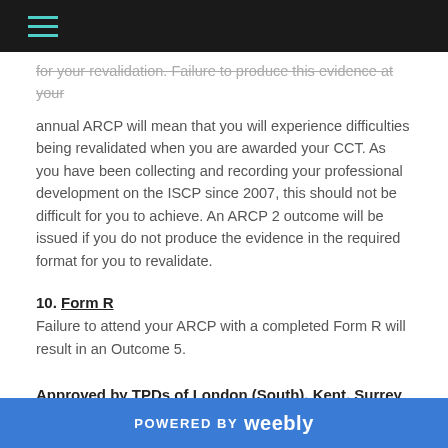for your revalidation. Failure to produce this evidence at your annual ARCP will mean that you will experience difficulties being revalidated when you are awarded your CCT. As you have been collecting and recording your professional development on the ISCP since 2007, this should not be difficult for you to achieve. An ARCP 2 outcome will be issued if you do not produce the evidence in the required format for you to revalidate.
10. Form R
Failure to attend your ARCP with a completed Form R will result in an Outcome 5.
Approved by TPDs of London (South), Kent, Surrey and Sussex, June 2017
POWERED BY weebly